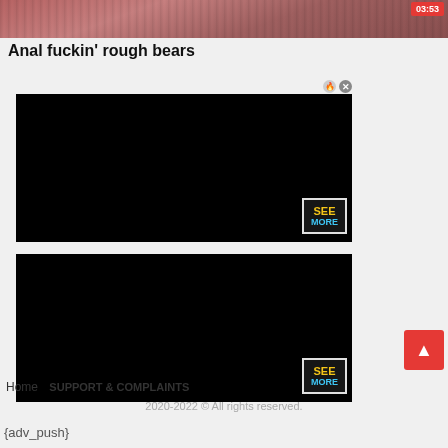[Figure (screenshot): Video thumbnail strip at top of page with reddish-brown color tones]
03:53
Anal fuckin' rough bears
[Figure (screenshot): First black advertisement block with SEE MORE badge in bottom right corner, and close/X icons at top right]
[Figure (screenshot): Second black advertisement block with SEE MORE badge in bottom right corner]
Home   SUPPORT & COMPLAINTS
2020-2022 © All rights reserved.
{adv_push}